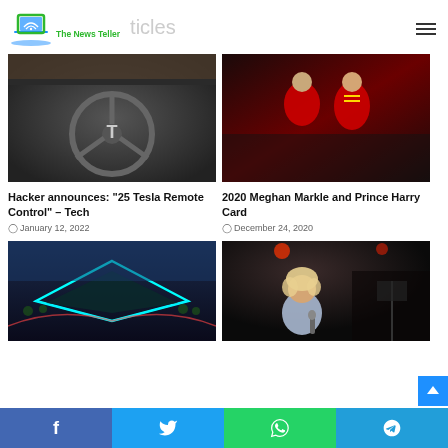The News Teller — ticles
[Figure (photo): Tesla interior showing steering wheel with Tesla logo]
Hacker announces: “25 Tesla Remote Control” – Tech
January 12, 2022
[Figure (photo): Meghan Markle and Prince Harry at formal event, woman in red dress, man in military uniform]
2020 Meghan Markle and Prince Harry Card
December 24, 2020
[Figure (photo): Aerial view of stadium with cyan/teal lighting at night]
[Figure (photo): Blonde curly-haired female singer on stage with microphone]
f  t  WhatsApp icon  Telegram icon — social share bar